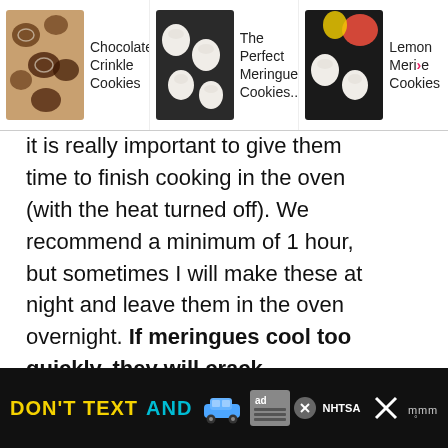[Figure (screenshot): Top navigation bar showing three recipe links: Chocolate Crinkle Cookies, The Perfect Meringue Cookies..., Lemon Meringue Cookies, each with a thumbnail image]
it is really important to give them time to finish cooking in the oven (with the heat turned off). We recommend a minimum of 1 hour, but sometimes I will make these at night and leave them in the oven overnight. If meringues cool too quickly, they will crack.
[Figure (screenshot): Ad banner at bottom: DON'T TEXT AND with car emoji, ad badge, NHTSA logo, and close X button]